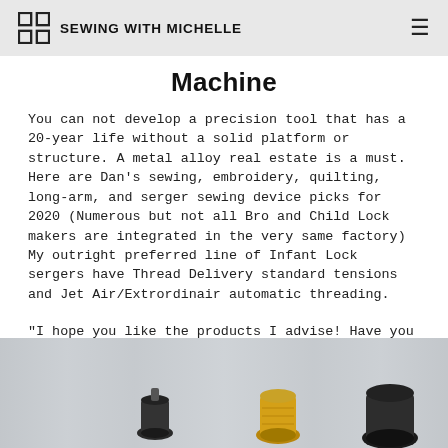SEWING WITH MICHELLE
Machine
You can not develop a precision tool that has a 20-year life without a solid platform or structure. A metal alloy real estate is a must. Here are Dan's sewing, embroidery, quilting, long-arm, and serger sewing device picks for 2020 (Numerous but not all Bro and Child Lock makers are integrated in the very same factory) My outright preferred line of Infant Lock sergers have Thread Delivery standard tensions and Jet Air/Extrordinair automatic threading.
"I hope you like the products I advise! Have you heard of Bernina stitching machines? They are produced by one of the most trusted business on the market.
[Figure (photo): Photo of sewing machine parts/bobbins on a light gray background, partially visible at the bottom of the page]